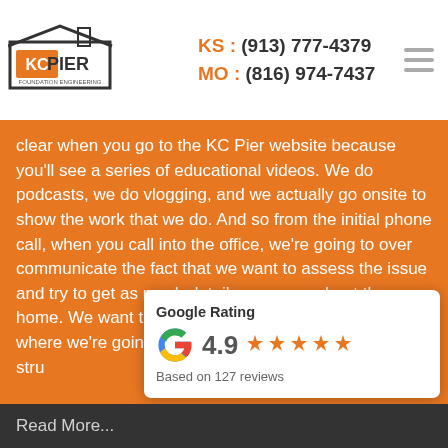KS : (913) 777-4379  MO : (816) 974-7437
[Figure (logo): KC Pier Foundation Engineering logo]
clear when you go to the KC Pier website because you'll see a series of educational videos. We do podcasts, we do vlogging, and we actually go onsite to show the work that we do. And so from the initial phone call, when you call into the office, we're going to over communicate the fact that we want to assess the issue and try to get as much detail as we can about the home. We want to give you information as to when and where we're going to be in, who's going give you your stru
[Figure (infographic): Google Rating overlay: 4.9 stars, Based on 127 reviews]
Read More...